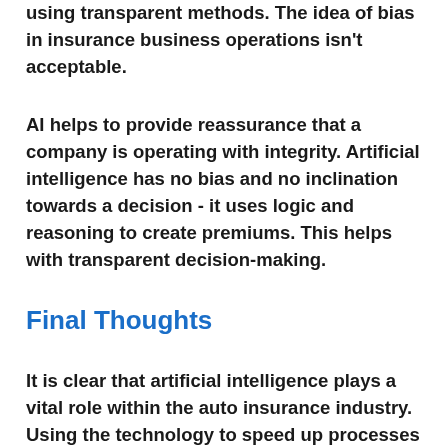using transparent methods. The idea of bias in insurance business operations isn't acceptable.
AI helps to provide reassurance that a company is operating with integrity. Artificial intelligence has no bias and no inclination towards a decision - it uses logic and reasoning to create premiums. This helps with transparent decision-making.
Final Thoughts
It is clear that artificial intelligence plays a vital role within the auto insurance industry. Using the technology to speed up processes and create a broad range of transparent, personalized services